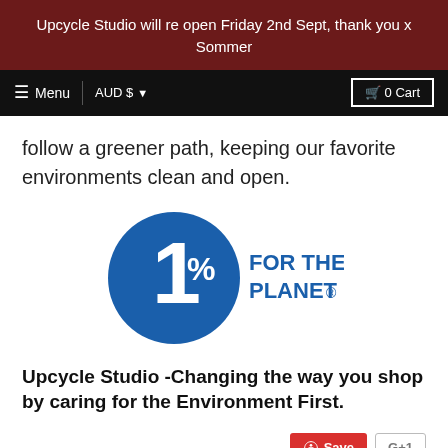Upcycle Studio will re open Friday 2nd Sept, thank you x Sommer
Menu | AUD $ | 0 Cart
follow a greener path, keeping our favorite environments clean and open.
[Figure (logo): 1% for the Planet logo — blue circle with large white '1%' numeral and blue text 'FOR THE PLANET' to the right]
Upcycle Studio -Changing the way you shop by caring for the Environment First.
Save | G+1